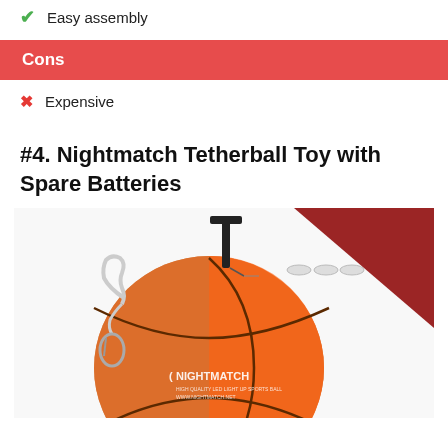✓ Easy assembly
Cons
✗ Expensive
#4. Nightmatch Tetherball Toy with Spare Batteries
[Figure (photo): Product photo of a Nightmatch tetherball (orange basketball with glowing effect), a black hand pump, and three small button batteries on a white background with a dark red triangular shadow.]